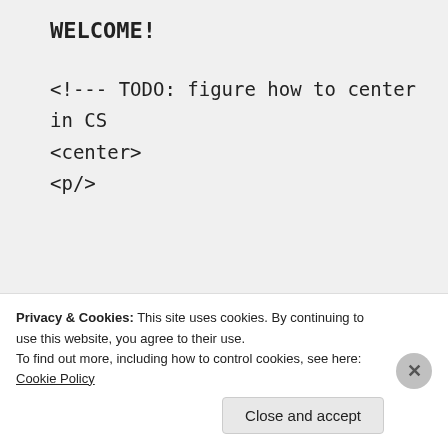WELCOME!
<!--- TODO: figure how to center in CS
<center>
<p/>
[Figure (other): Broken image placeholder (small icon, missing image)]
[Figure (other): Broken image placeholder (large rectangular, missing image with border)]
Privacy & Cookies: This site uses cookies. By continuing to use this website, you agree to their use.
To find out more, including how to control cookies, see here: Cookie Policy
Close and accept